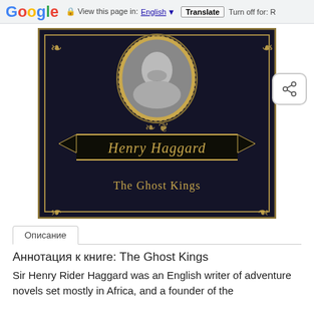Google  View this page in: English ▼  Translate  Turn off for: R
[Figure (photo): Book cover of 'The Ghost Kings' by Henry Haggard — dark navy/black leather cover with gold ornamental border, an oval portrait of a bearded man at top center, decorative scroll and banner with author name 'Henry Haggard' in gold italic, and title 'The Ghost Kings' in gold text near the bottom.]
Описание
Аннотация к книге: The Ghost Kings
Sir Henry Rider Haggard was an English writer of adventure novels set mostly in Africa, and a founder of the